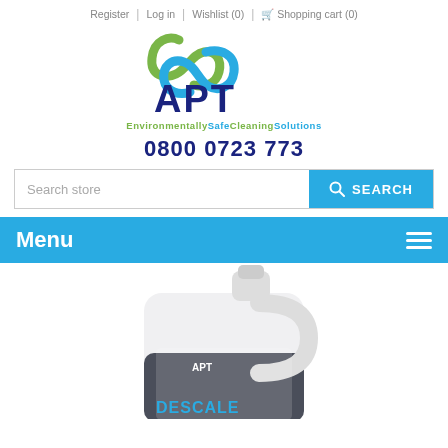Register | Log in | Wishlist (0) | Shopping cart (0)
[Figure (logo): APT logo with green and blue swoosh above letters APT in dark blue, tagline 'EnvironmentallySafeCleaningSolutions' in green and blue]
0800 0723 773
Search store SEARCH
Menu
[Figure (photo): Large white and dark grey plastic jug/container with APT logo and DESCALE label on the front, product cleaning solution container]